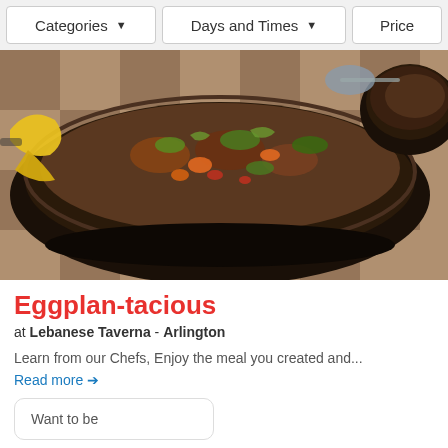Categories ▼   Days and Times ▼   Price
[Figure (photo): A dark pan filled with a colorful stir-fry of eggplant, vegetables, carrots, and greens with yellow bell pepper slices, sitting on a checkered tablecloth. Another dark bowl visible in the upper right.]
Eggplan-tacious
at Lebanese Taverna - Arlington
Learn from our Chefs, Enjoy the meal you created and...
Read more →
Want to be